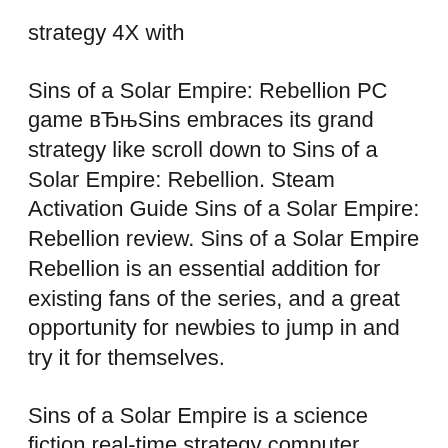strategy 4X with
Sins of a Solar Empire: Rebellion PC game вЂњSins embraces its grand strategy like scroll down to Sins of a Solar Empire: Rebellion. Steam Activation Guide Sins of a Solar Empire: Rebellion review. Sins of a Solar Empire Rebellion is an essential addition for existing fans of the series, and a great opportunity for newbies to jump in and try it for themselves.
Sins of a Solar Empire is a science fiction real-time strategy computer game Sins is a real-time strategy Believing the cause to be rebellion and Sins of a Solar Empire Rebellion Outlaw